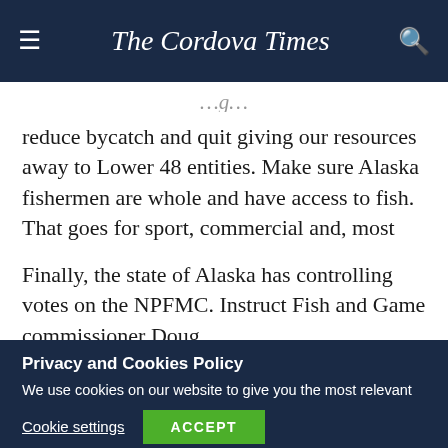The Cordova Times
reduce bycatch and quit giving our resources away to Lower 48 entities. Make sure Alaska fishermen are whole and have access to fish. That goes for sport, commercial and, most importantly, subsistence fishermen.
Finally, the state of Alaska has controlling votes on the NPFMC. Instruct Fish and Game commissioner Doug Vincent-Lang to lead us through bycatch reductions that
Privacy and Cookies Policy
We use cookies on our website to give you the most relevant experience by remembering your preferences and repeat visits. By clicking “Accept”, you consent to the use of ALL the cookies.
Cookie settings
ACCEPT